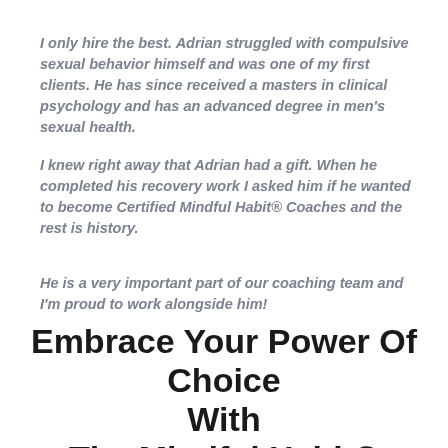I only hire the best. Adrian struggled with compulsive sexual behavior himself and was one of my first clients. He has since received a masters in clinical psychology and has an advanced degree in men's sexual health.
I knew right away that Adrian had a gift. When he completed his recovery work I asked him if he wanted to become Certified Mindful Habit® Coaches and the rest is history.
He is a very important part of our coaching team and I'm proud to work alongside him!
Embrace Your Power Of Choice With The Mindful Habit® System!